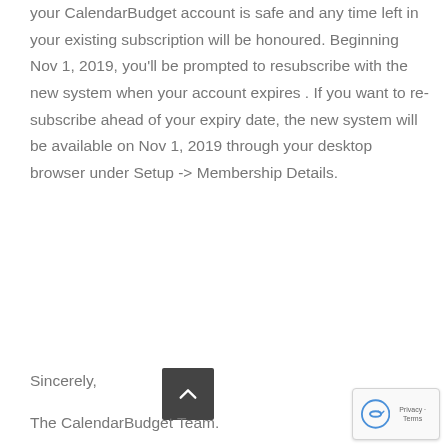your CalendarBudget account is safe and any time left in your existing subscription will be honoured. Beginning Nov 1, 2019, you'll be prompted to resubscribe with the new system when your account expires . If you want to re-subscribe ahead of your expiry date, the new system will be available on Nov 1, 2019 through your desktop browser under Setup -> Membership Details.
Sincerely,
The CalendarBudget Team.